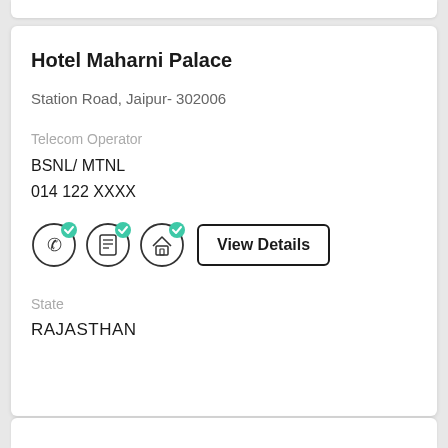Hotel Maharni Palace
Station Road, Jaipur- 302006
Telecom Operator
BSNL/ MTNL
014 122 XXXX
[Figure (infographic): Three circular icon buttons with teal checkmarks (phone, list/document, house icons) and a View Details button]
State
RAJASTHAN